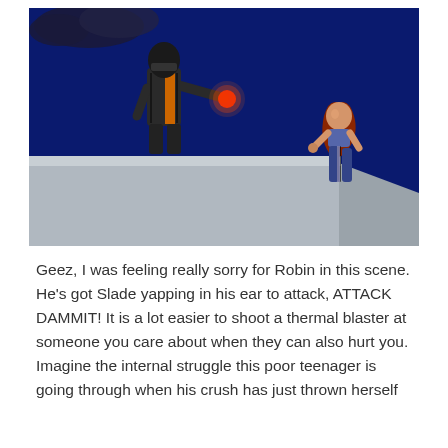[Figure (illustration): Animated scene from Teen Titans showing a robotic/armored figure on a rooftop ledge holding a glowing red orb (thermal blaster) pointed toward a female character with long red hair floating in the air against a deep blue night sky background.]
Geez, I was feeling really sorry for Robin in this scene. He's got Slade yapping in his ear to attack, ATTACK DAMMIT! It is a lot easier to shoot a thermal blaster at someone you care about when they can also hurt you. Imagine the internal struggle this poor teenager is going through when his crush has just thrown herself